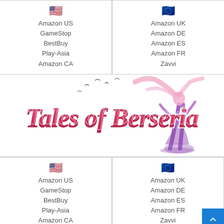🇺🇸
Amazon US
GameStop
BestBuy
Play-Asia
Amazon CA
🇪🇺
Amazon UK
Amazon DE
Amazon ES
Amazon FR
Zavvi
[Figure (illustration): Tales of Berseria logo with stylized text in pink/red gradient and a silhouette of a female character in purple/pink tones on the right side, with birds in the background.]
🇺🇸
Amazon US
GameStop
BestBuy
Play-Asia
Amazon CA
🇪🇺
Amazon UK
Amazon DE
Amazon ES
Amazon FR
Zavvi